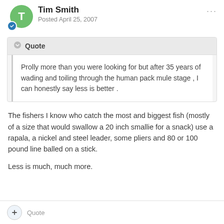Tim Smith – Posted April 25, 2007
Prolly more than you were looking for but after 35 years of wading and toiling through the human pack mule stage , I can honestly say less is better .
The fishers I know who catch the most and biggest fish (mostly of a size that would swallow a 20 inch smallie for a snack) use a rapala, a nickel and steel leader, some pliers and 80 or 100 pound line balled on a stick.
Less is much, much more.